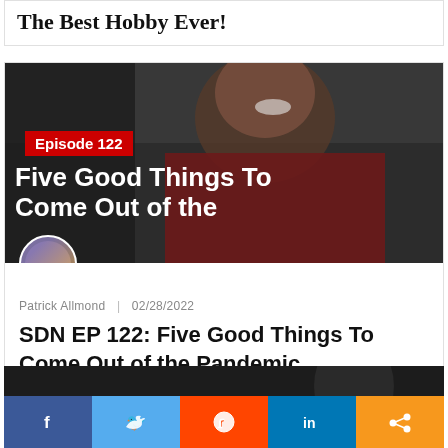The Best Hobby Ever!
[Figure (photo): Thumbnail for Episode 122 podcast episode showing a person smiling wearing a dark red shirt, with red badge reading 'Episode 122' and white bold text 'Five Good Things To Come Out of the']
Patrick Allmond | 02/28/2022
SDN EP 122: Five Good Things To Come Out of the Pandemic
[Figure (photo): Bottom partial card with dark background and social share buttons: Facebook, Twitter, Reddit, LinkedIn, Share]